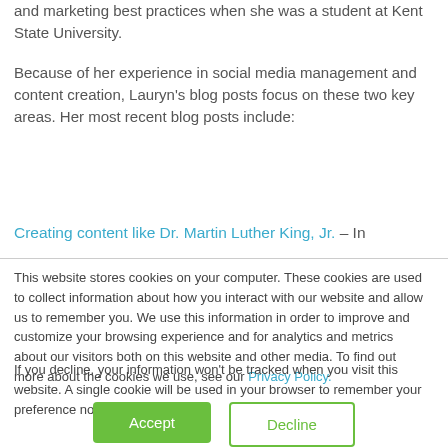and marketing best practices when she was a student at Kent State University.
Because of her experience in social media management and content creation, Lauryn's blog posts focus on these two key areas. Her most recent blog posts include:
Creating content like Dr. Martin Luther King, Jr. – In
This website stores cookies on your computer. These cookies are used to collect information about how you interact with our website and allow us to remember you. We use this information in order to improve and customize your browsing experience and for analytics and metrics about our visitors both on this website and other media. To find out more about the cookies we use, see our Privacy Policy.
If you decline, your information won't be tracked when you visit this website. A single cookie will be used in your browser to remember your preference not to be tracked.
Accept
Decline